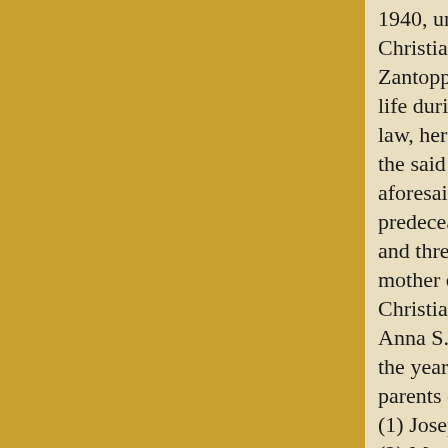1940, unmarried, and intestate leaving Christiana S. Zantopp, his brother, W Zantopp, that the said Kate Zantopp life during the year 1941, intestate a law, her mother, Christiana S. Zanto the said Frank Zantopp, father of W aforesaid, and that he was an only ch predeceased him many years ago: so and three children as aforesaid; that mother of Willlam J. Zantopp, depa Christiana Schmeider Zantopp, was Anna S. Schmeider, both of whom c the year 1948; that the said John H. parents of the following children: (1) Joseph Schmeider, Intermarried (2) Mary Schmeider Donohue, Inter (3} John H. Schmeider, Jr., Intermar (4) Louis Schmeider. Intermarried, v (5) Elizabeth Schmeider Rairick, Int (6) Frank M. Schmeider, Intermarrie (7) Annie Schmeider Schupfer, Inter (8) William A. Schmeider, Intermar